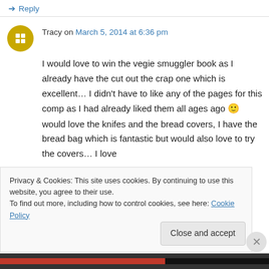↳ Reply
Tracy on March 5, 2014 at 6:36 pm
I would love to win the vegie smuggler book as I already have the cut out the crap one which is excellent… I didn't have to like any of the pages for this comp as I had already liked them all ages ago 🙂 would love the knifes and the bread covers, I have the bread bag which is fantastic but would also love to try the covers… I love
Privacy & Cookies: This site uses cookies. By continuing to use this website, you agree to their use.
To find out more, including how to control cookies, see here: Cookie Policy
Close and accept